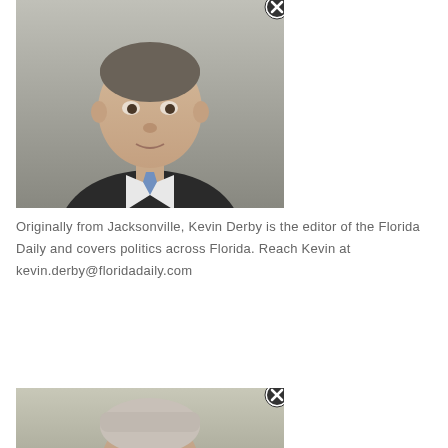[Figure (photo): Headshot photo of Kevin Derby, a man in a dark suit and blue tie, grey background. Has a circular X/close button in top right corner.]
Originally from Jacksonville, Kevin Derby is the editor of the Florida Daily and covers politics across Florida. Reach Kevin at kevin.derby@floridadaily.com
[Figure (photo): Partial headshot photo of another person (cropped), with a circular X/close button in top right corner.]